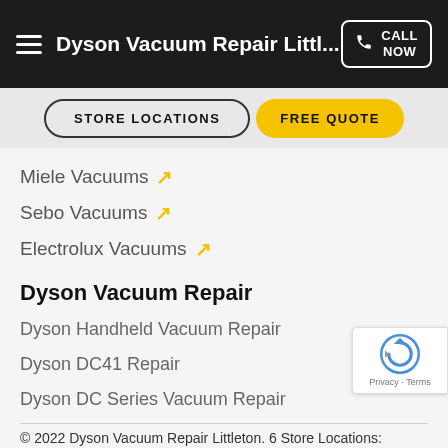Dyson Vacuum Repair Littl...   CALL NOW
Miele Vacuums ↗
Sebo Vacuums ↗
Electrolux Vacuums ↗
Dyson Vacuum Repair
Dyson Handheld Vacuum Repair
Dyson DC41 Repair
Dyson DC Series Vacuum Repair
© 2022 Dyson Vacuum Repair Littleton. 6 Store Locations: